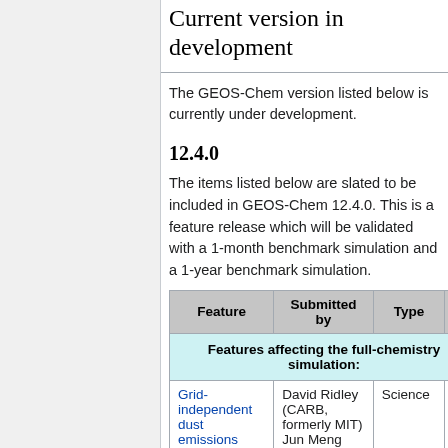Current version in development
The GEOS-Chem version listed below is currently under development.
12.4.0
The items listed below are slated to be included in GEOS-Chem 12.4.0. This is a feature release which will be validated with a 1-month benchmark simulation and a 1-year benchmark simulation.
| Feature | Submitted by | Type | S |
| --- | --- | --- | --- |
| Features affecting the full-chemistry simulation: |  |  |  |
| Grid-independent dust emissions | David Ridley (CARB, formerly MIT)
Jun Meng | Science |  |